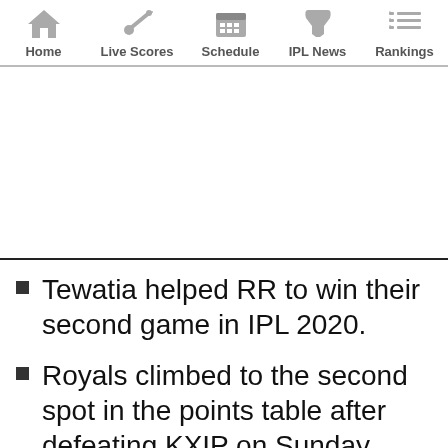Home | Live Scores | Schedule | IPL News | Rankings
[Figure (other): Advertisement/blank area]
Tewatia helped RR to win their second game in IPL 2020.
Royals climbed to the second spot in the points table after defeating KXIP on Sunday.